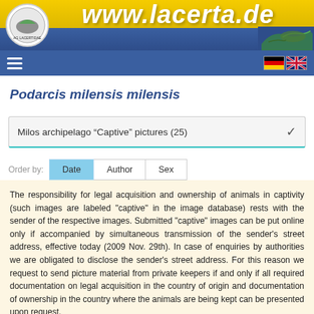www.lacerta.de
Podarcis milensis milensis
Milos archipelago "Captive" pictures (25)
Order by: Date  Author  Sex
The responsibility for legal acquisition and ownership of animals in captivity (such images are labeled "captive" in the image database) rests with the sender of the respective images. Submitted "captive" images can be put online only if accompanied by simultaneous transmission of the sender's street address, effective today (2009 Nov. 29th). In case of enquiries by authorities we are obligated to disclose the sender's street address. For this reason we request to send picture material from private keepers if and only if all required documentation on legal acquisition in the country of origin and documentation of ownership in the country where the animals are being kept can be presented upon request.